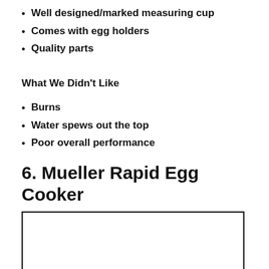Well designed/marked measuring cup
Comes with egg holders
Quality parts
What We Didn't Like
Burns
Water spews out the top
Poor overall performance
6. Mueller Rapid Egg Cooker
[Figure (photo): Empty white image box with black border, placeholder for Mueller Rapid Egg Cooker product photo]